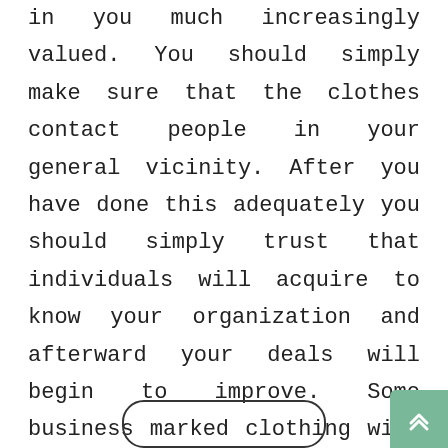in you much increasingly valued. You should simply make sure that the clothes contact people in your general vicinity. After you have done this adequately you should simply trust that individuals will acquire to know your organization and afterward your deals will begin to improve. Some business marked clothing will unquestionably support your association; all you ought to do is give an attempt.